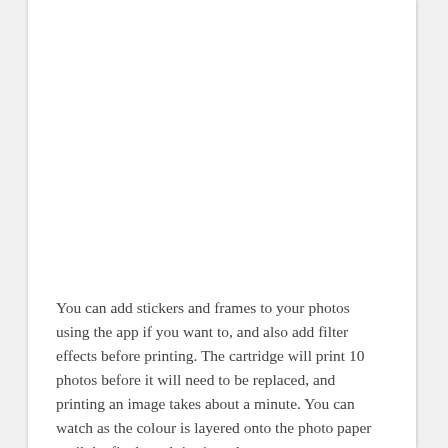You can add stickers and frames to your photos using the app if you want to, and also add filter effects before printing. The cartridge will print 10 photos before it will need to be replaced, and printing an image takes about a minute. You can watch as the colour is layered onto the photo paper until the final result is ejected.
The XSories PIXSPRINT Pocket Wifi Photo Prin[ter] is available through the Orange store for about R1